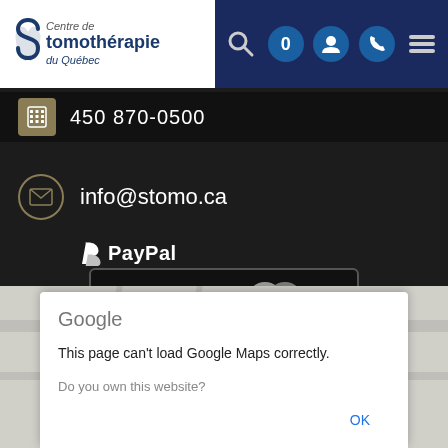[Figure (screenshot): Centre de Stomothérapie du Québec website header with logo on white background and navigation icons on dark blue background]
450 870-0500
info@stomo.ca
[Figure (logo): PayPal, VISA, and MasterCard accepted payment methods logos on black background]
Google
This page can't load Google Maps correctly.
Do you own this website?
OK